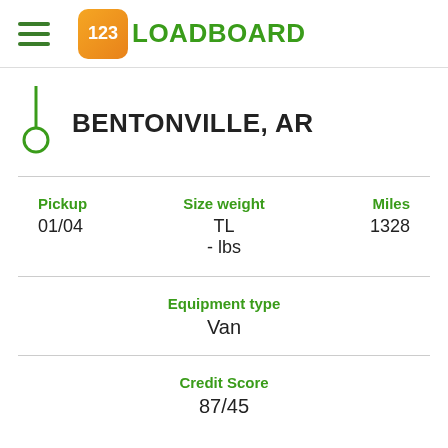[Figure (logo): 123Loadboard logo with orange rounded square containing '123' in white and green text 'LOADBOARD']
BENTONVILLE, AR
Pickup
01/04
Size weight
TL
- lbs
Miles
1328
Equipment type
Van
Credit Score
87/45